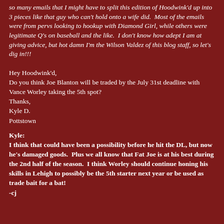so many emails that I might have to split this edition of Hoodwink'd up into 3 pieces like that guy who can't hold onto a wife did.  Most of the emails were from pervs looking to hookup with Diamond Girl, while others were legitimate Q's on baseball and the like.  I don't know how adept I am at giving advice, but hot damn I'm the Wilson Valdez of this blog staff, so let's dig in!!!
Hey Hoodwink'd,
Do you think Joe Blanton will be traded by the July 31st deadline with Vance Worley taking the 5th spot?
Thanks,
Kyle D.
Pottstown
Kyle:
I think that could have been a possibility before he hit the DL, but now he's damaged goods.  Plus we all know that Fat Joe is at his best during the 2nd half of the season.  I think Worley should continue honing his skills in Lehigh to possibly be the 5th starter next year or be used as trade bait for a bat!
-cj